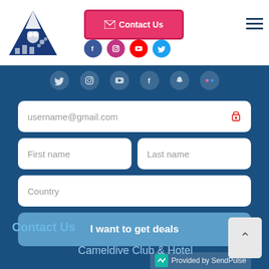[Figure (logo): Blue triangle mountain logo with polar bear and ice, Cameldive Club brand]
Contact Us
[Figure (infographic): Social media icons: Facebook, Instagram, YouTube, Twitter in colored circles]
[Figure (infographic): Social media icon strip: Twitter, Instagram, YouTube, Facebook, Snapchat, Flickr on dark blue background]
username@gmail.com
First name
Last name
Country
I want to get deals
Provided by SendPulse
Contact Us
Cameldive Club & Hotel